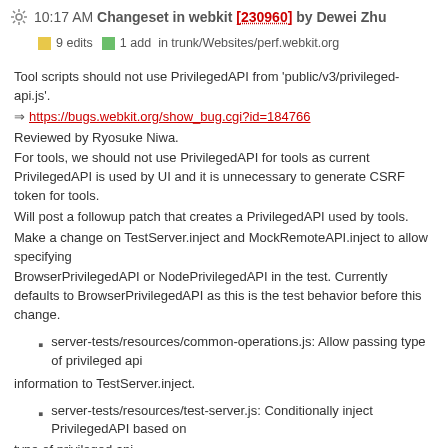10:17 AM Changeset in webkit [230960] by Dewei Zhu
9 edits  1 add  in trunk/Websites/perf.webkit.org
Tool scripts should not use PrivilegedAPI from 'public/v3/privileged-api.js'.
https://bugs.webkit.org/show_bug.cgi?id=184766
Reviewed by Ryosuke Niwa.
For tools, we should not use PrivilegedAPI for tools as current PrivilegedAPI is used by UI and it is unnecessary to generate CSRF token for tools.
Will post a followup patch that creates a PrivilegedAPI used by tools.
Make a change on TestServer.inject and MockRemoteAPI.inject to allow specifying
BrowserPrivilegedAPI or NodePrivilegedAPI in the test. Currently defaults to BrowserPrivilegedAPI as this is the test behavior before this change.
server-tests/resources/common-operations.js: Allow passing type of privileged api
information to TestServer.inject.
server-tests/resources/test-server.js: Conditionally inject PrivilegedAPI based on
type of privileged api.
(TestServer.prototype.inject):
(TestServer):
server-tests/tools-buildbot-triggerable-tests.js: Updated 'prepareServerTest' invocation.
server-tests/tools-as-build-fetcher-tests.js: Updated 'prepareServerTest'